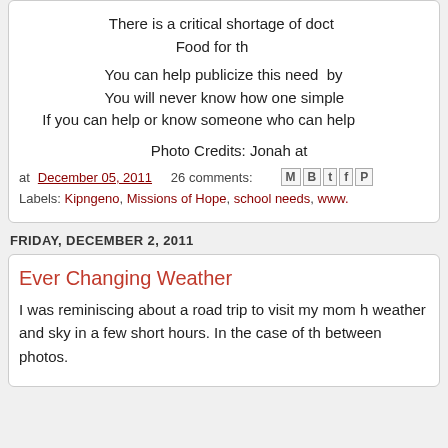There is a critical shortage of doc Food for th You can help publicize this need  by You will never know how one simple If you can help or know someone who can help
Photo Credits: Jonah at
at December 05, 2011   26 comments:
Labels: Kipngeno, Missions of Hope, school needs, www.
FRIDAY, DECEMBER 2, 2011
Ever Changing Weather
I was reminiscing about a road trip to visit my mom h weather and sky in a few short hours. In the case of th between photos.